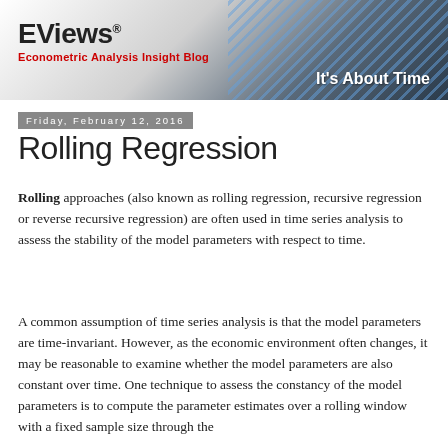[Figure (illustration): EViews blog header banner with logo, tagline 'Econometric Analysis Insight Blog', diagonal blue lines on dark background, and 'It's About Time' text]
Friday, February 12, 2016
Rolling Regression
Rolling approaches (also known as rolling regression, recursive regression or reverse recursive regression) are often used in time series analysis to assess the stability of the model parameters with respect to time.
A common assumption of time series analysis is that the model parameters are time-invariant. However, as the economic environment often changes, it may be reasonable to examine whether the model parameters are also constant over time. One technique to assess the constancy of the model parameters is to compute the parameter estimates over a rolling window with a fixed sample size through the